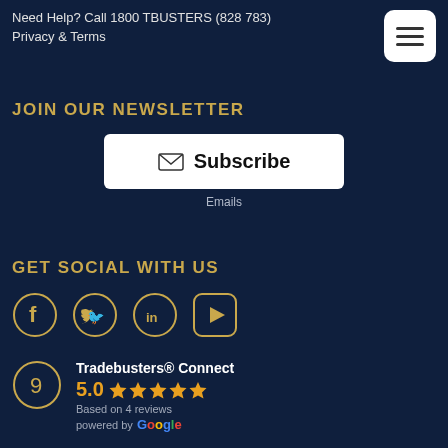Need Help? Call 1800 TBUSTERS (828 783)
Privacy & Terms
[Figure (other): Hamburger menu button (three horizontal lines) in white rounded square]
JOIN OUR NEWSLETTER
[Figure (other): Subscribe button with envelope icon]
Emails
GET SOCIAL WITH US
[Figure (other): Social media icons: Facebook, Twitter, LinkedIn, YouTube]
[Figure (other): Google review badge showing Tradebusters Connect with 5.0 stars based on 4 reviews, powered by Google]